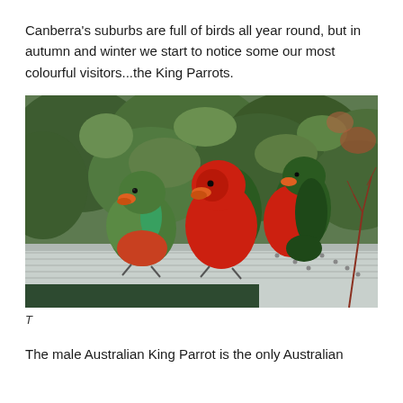Canberra's suburbs are full of birds all year round, but in autumn and winter we start to notice some our most colourful visitors...the King Parrots.
[Figure (photo): Three King Parrots (Australian King Parrots) perched on a metal roof edge or gutter. Two birds have vivid red and green plumage (males), and one is green (female). Green leafy background and some bare red branches visible on the right.]
T
The male Australian King Parrot is the only Australian